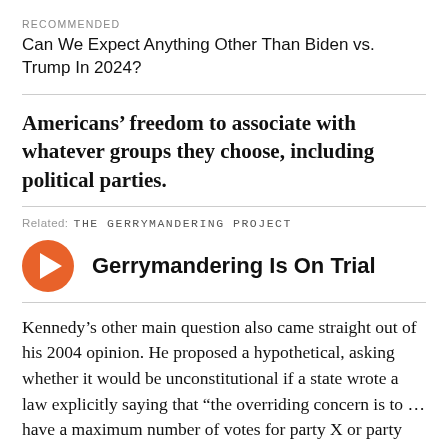RECOMMENDED
Can We Expect Anything Other Than Biden vs. Trump In 2024?
Americans’ freedom to associate with whatever groups they choose, including political parties.
Related: THE GERRYMANDERING PROJECT
[Figure (other): Orange circular play button icon followed by bold text 'Gerrymandering Is On Trial']
Kennedy’s other main question also came straight out of his 2004 opinion. He proposed a hypothetical, asking whether it would be unconstitutional if a state wrote a law explicitly saying that “the overriding concern is to … have a maximum number of votes for party X or party Y.”